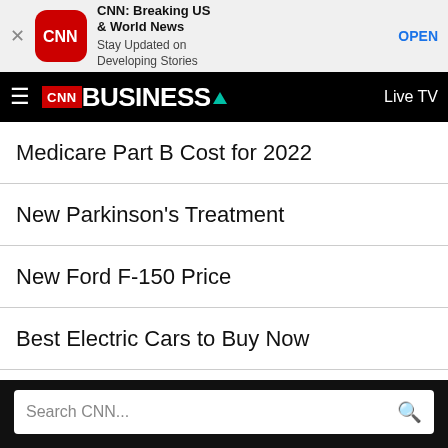[Figure (screenshot): CNN app advertisement banner with close button, CNN logo icon, app name 'CNN: Breaking US & World News', tagline 'Stay Updated on Developing Stories', and OPEN button]
CNN BUSINESS | Live TV
Medicare Part B Cost for 2022
New Parkinson's Treatment
New Ford F-150 Price
Best Electric Cars to Buy Now
Online Shopping Web Site
Search CNN...